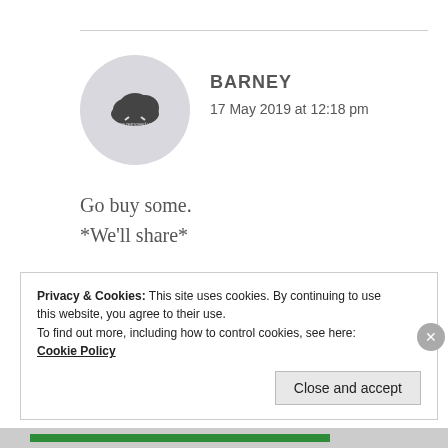[Figure (illustration): Circular avatar image with gray background and a dark cloud icon with small text beneath it]
BARNEY
17 May 2019 at 12:18 pm
Go buy some.
*We'll share*
★ Liked by 1 person
Privacy & Cookies: This site uses cookies. By continuing to use this website, you agree to their use.
To find out more, including how to control cookies, see here: Cookie Policy
Close and accept